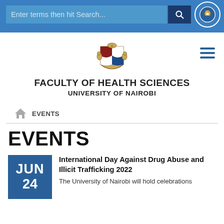Enter terms then hit Search...
[Figure (logo): University of Nairobi Faculty of Health Sciences crest/coat of arms]
FACULTY OF HEALTH SCIENCES
UNIVERSITY OF NAIROBI
EVENTS
EVENTS
International Day Against Drug Abuse and Illicit Trafficking 2022
The University of Nairobi will hold celebrations